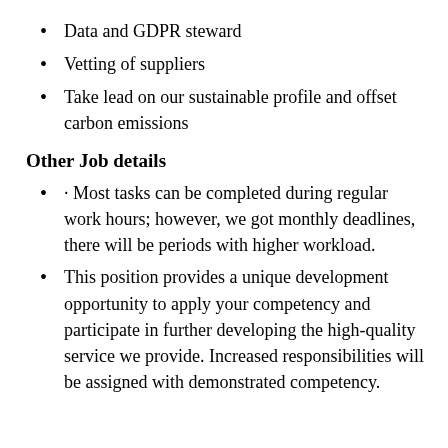Data and GDPR steward
Vetting of suppliers
Take lead on our sustainable profile and offset carbon emissions
Other Job details
· Most tasks can be completed during regular work hours; however, we got monthly deadlines, there will be periods with higher workload.
This position provides a unique development opportunity to apply your competency and participate in further developing the high-quality service we provide. Increased responsibilities will be assigned with demonstrated competency.